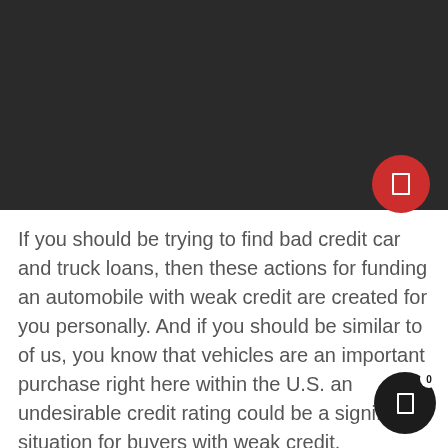[Figure (screenshot): Dark video player area with a red circular play/pause button in the bottom-right corner of the video region]
If you should be trying to find bad credit car and truck loans, then these actions for funding an automobile with weak credit are created for you personally. And if you should be similar to of us, you know that vehicles are an important purchase right here within the U.S. an undesirable credit rating could be a significant situation for buyers with weak credit.